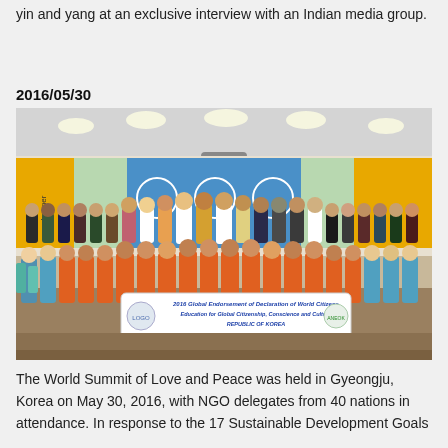yin and yang at an exclusive interview with an Indian media group.
2016/05/30
[Figure (photo): Group photo at the World Summit of Love and Peace in Gyeongju, Korea, May 30, 2016. Attendees in orange uniforms and traditional costumes hold a banner reading '2016 Global Endorsement of Declaration of World Citizens Education for Global Citizenship, Conscience and Culture REPUBLIC OF KOREA ANEOK'. UN and other organization flags are visible in the background.]
The World Summit of Love and Peace was held in Gyeongju, Korea on May 30, 2016, with NGO delegates from 40 nations in attendance. In response to the 17 Sustainable Development Goals